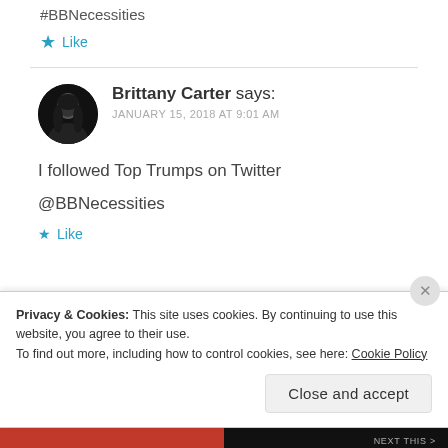#BBNecessities
★ Like
Brittany Carter says:
JANUARY 15, 2018 AT 9:01 AM
I followed Top Trumps on Twitter
@BBNecessities
★ Like
Privacy & Cookies: This site uses cookies. By continuing to use this website, you agree to their use.
To find out more, including how to control cookies, see here: Cookie Policy
Close and accept